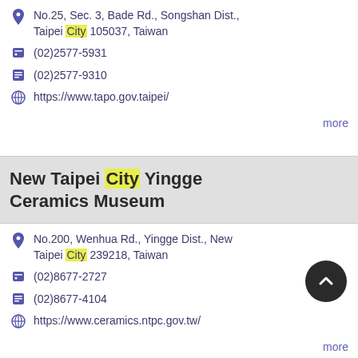No.25, Sec. 3, Bade Rd., Songshan Dist., Taipei City 105037, Taiwan
(02)2577-5931
(02)2577-9310
https://www.tapo.gov.taipei/
more
New Taipei City Yingge Ceramics Museum
No.200, Wenhua Rd., Yingge Dist., New Taipei City 239218, Taiwan
(02)8677-2727
(02)8677-4104
https://www.ceramics.ntpc.gov.tw/
more
Pinglin Tea Museum, New Taipei City